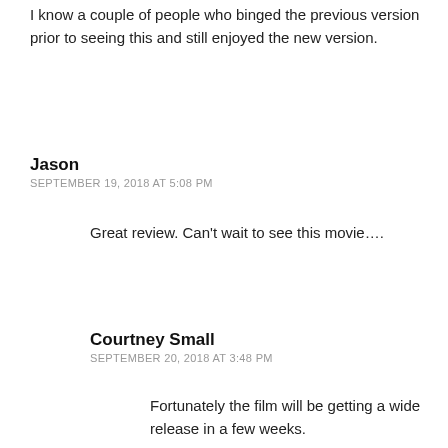I know a couple of people who binged the previous version prior to seeing this and still enjoyed the new version.
Jason
SEPTEMBER 19, 2018 AT 5:08 PM
Great review. Can't wait to see this movie….
Courtney Small
SEPTEMBER 20, 2018 AT 3:48 PM
Fortunately the film will be getting a wide release in a few weeks.